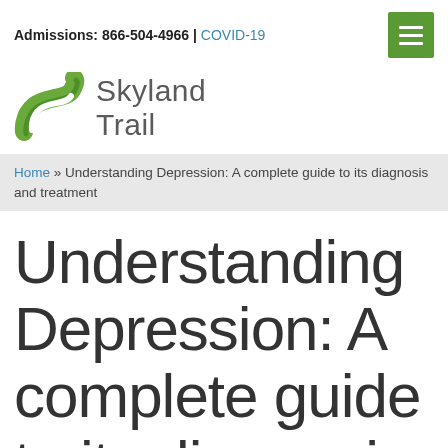Admissions: 866-504-4966 | COVID-19
[Figure (logo): Skyland Trail logo with green stylized trail/path icon and text 'Skyland Trail']
Home » Understanding Depression: A complete guide to its diagnosis and treatment
Understanding Depression: A complete guide to its diagnosis